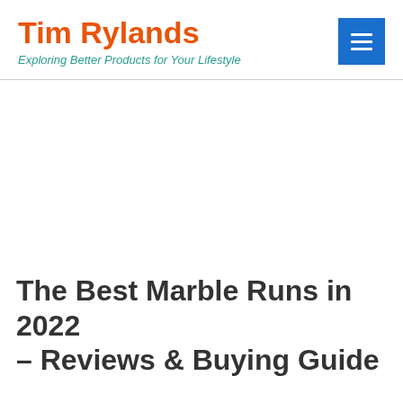Tim Rylands – Exploring Better Products for Your Lifestyle
The Best Marble Runs in 2022 – Reviews & Buying Guide